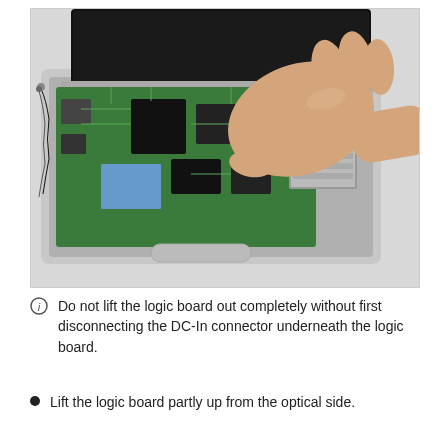[Figure (photo): A hand lifting a green logic board (motherboard) from an open white laptop computer. The laptop's interior components including chips, cables, and connectors are visible. The screen is open in the background.]
Do not lift the logic board out completely without first disconnecting the DC-In connector underneath the logic board.
Lift the logic board partly up from the optical side.